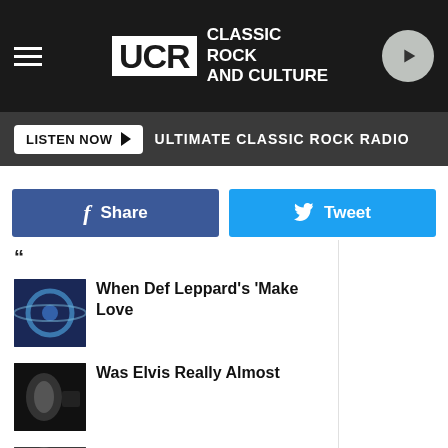UCR Classic Rock and Culture
LISTEN NOW ▶ ULTIMATE CLASSIC ROCK RADIO
[Figure (screenshot): Facebook Share button (blue) and Twitter Tweet button (cyan)]
When Def Leppard's 'Make Love
Was Elvis Really Almost
Watch Steve Vai Join
Article Continues
Powered by Hindsight